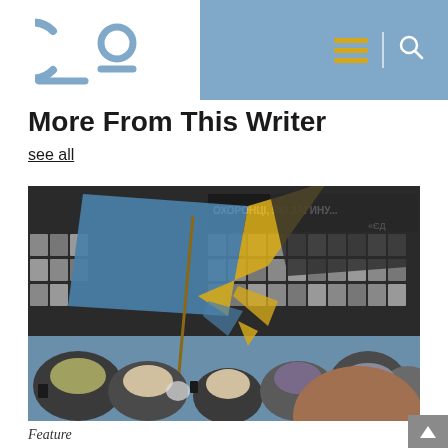Co — logo, hamburger menu, search icon
More From This Writer
see all
[Figure (photo): A crowd of people holding a tattered Ukrainian flag (blue and yellow) in front of a memorial wall covered with portrait photos. A banner with Cyrillic text reading 'ОХОРОНЦІ, ЯКІ ЗАГИНУ...' is visible in the background.]
Feature